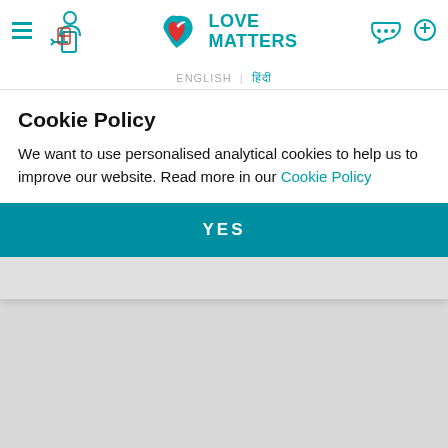[Figure (logo): Love Matters website header with hamburger menu, exit icon, Love Matters logo (heart with dove), and search/chat icons]
ENGLISH | हिंदी
chahiye
Reply
Tue, 08/23/2016 - 11:57
Bele, iska koi nishchit shape ya size nahi hota. Adhik jankari ke liye ye padhiye:
Cookie Policy
We want to use personalised analytical cookies to help us to improve our website. Read more in our Cookie Policy
YES